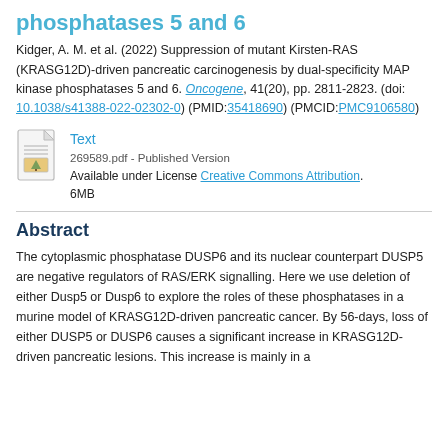phosphatases 5 and 6
Kidger, A. M. et al. (2022) Suppression of mutant Kirsten-RAS (KRASG12D)-driven pancreatic carcinogenesis by dual-specificity MAP kinase phosphatases 5 and 6. Oncogene, 41(20), pp. 2811-2823. (doi: 10.1038/s41388-022-02302-0) (PMID:35418690) (PMCID:PMC9106580)
[Figure (illustration): Document/file icon representing a PDF file]
Text
269589.pdf - Published Version
Available under License Creative Commons Attribution.
6MB
Abstract
The cytoplasmic phosphatase DUSP6 and its nuclear counterpart DUSP5 are negative regulators of RAS/ERK signalling. Here we use deletion of either Dusp5 or Dusp6 to explore the roles of these phosphatases in a murine model of KRASG12D-driven pancreatic cancer. By 56-days, loss of either DUSP5 or DUSP6 causes a significant increase in KRASG12D-driven pancreatic lesions. This increase is mainly in a...